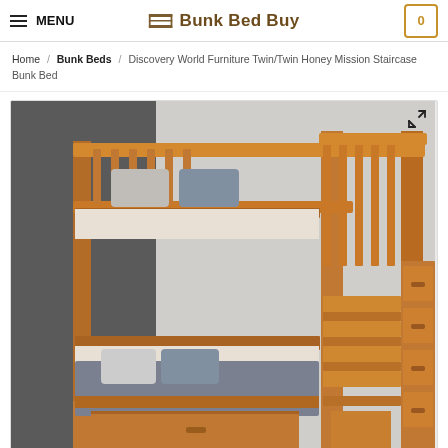MENU | Bunk Bed Buy | 0
Home / Bunk Beds / Discovery World Furniture Twin/Twin Honey Mission Staircase Bunk Bed
[Figure (photo): Product photo of a honey/orange-stained wooden twin/twin mission staircase bunk bed with staircase drawers on the right side, upper and lower bunks with pillows and bedding, shown in a bedroom setting with grey and white walls.]